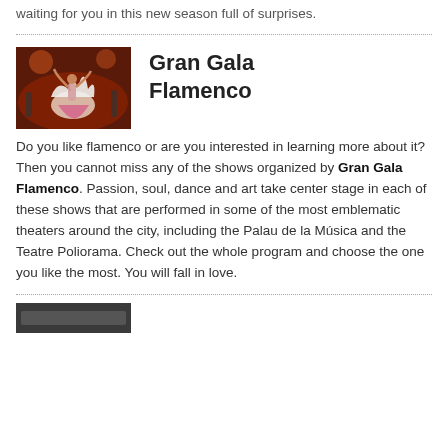waiting for you in this new season full of surprises.
[Figure (photo): Flamenco dancers performing on stage with dramatic lighting, featuring a dancer in a white and pink dress with feathers.]
Gran Gala Flamenco
Do you like flamenco or are you interested in learning more about it? Then you cannot miss any of the shows organized by Gran Gala Flamenco. Passion, soul, dance and art take center stage in each of these shows that are performed in some of the most emblematic theaters around the city, including the Palau de la Música and the Teatre Poliorama. Check out the whole program and choose the one you like the most. You will fall in love.